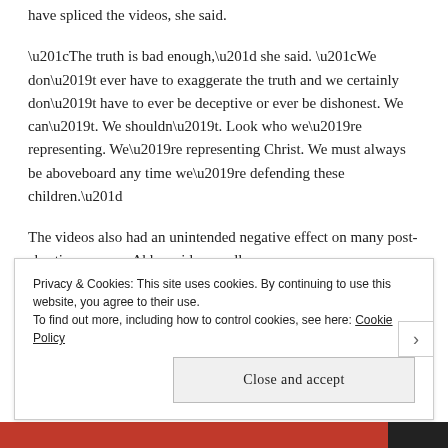have spliced the videos, she said.
“The truth is bad enough,” she said. “We don’t ever have to exaggerate the truth and we certainly don’t have to ever be deceptive or ever be dishonest. We can’t. We shouldn’t. Look who we’re representing. We’re representing Christ. We must always be aboveboard any time we’re defending these children.”
The videos also had an unintended negative effect on many post-abortive women, Abby said, as well as
Privacy & Cookies: This site uses cookies. By continuing to use this website, you agree to their use.
To find out more, including how to control cookies, see here: Cookie Policy
Close and accept